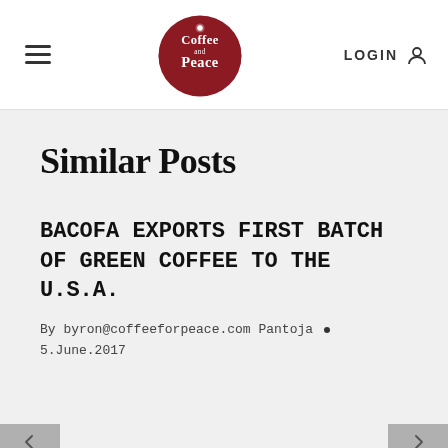Coffee for Peace website header with hamburger menu, logo, and LOGIN link
Similar Posts
BACOFA EXPORTS FIRST BATCH OF GREEN COFFEE TO THE U.S.A.
By byron@coffeeforpeace.com Pantoja • 5.June.2017